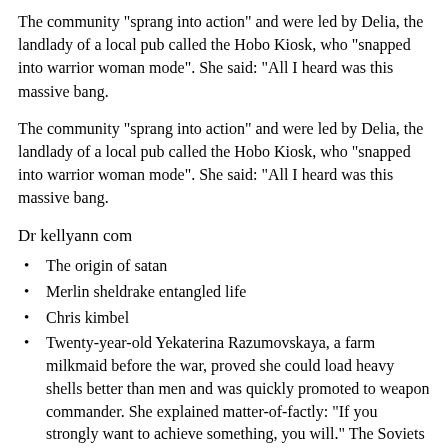The community "sprang into action" and were led by Delia, the landlady of a local pub called the Hobo Kiosk, who "snapped into warrior woman mode". She said: "All I heard was this massive bang.
The community "sprang into action" and were led by Delia, the landlady of a local pub called the Hobo Kiosk, who "snapped into warrior woman mode". She said: "All I heard was this massive bang.
Dr kellyann com
The origin of satan
Merlin sheldrake entangled life
Chris kimbel
Twenty-year-old Yekaterina Razumovskaya, a farm milkmaid before the war, proved she could load heavy shells better than men and was quickly promoted to weapon commander. She explained matter-of-factly: "If you strongly want to achieve something, you will." The Soviets came to depend on the women gunners.
No Name Woman, which is the name that Kingston grants her shamed aunt, had the baby in the early summer, according to Brave Orchid. The villagers “had been